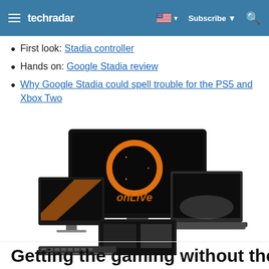techradar | Subscribe | Search
First look: Stadia controller
Hands on: Google Stadia review
Why Google Stadia could spell trouble for the PS5 and Xbox Two
[Figure (photo): OnLive logo displayed on a large TV monitor, surrounded by various devices including a desktop monitor, laptop, tablet, and keyboard — showing the OnLive game streaming service across multiple platforms.]
Getting the gaming without the...